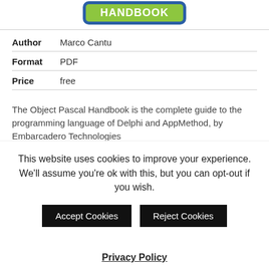[Figure (logo): Object Pascal Handbook logo — green rounded rectangle with blue border, white text reading HANDBOOK]
| Author | Marco Cantu |
| Format | PDF |
| Price | free |
The Object Pascal Handbook is the complete guide to the programming language of Delphi and AppMethod, by Embarcadero Technologies
This website uses cookies to improve your experience. We'll assume you're ok with this, but you can opt-out if you wish.
Accept Cookies   Reject Cookies
Privacy Policy